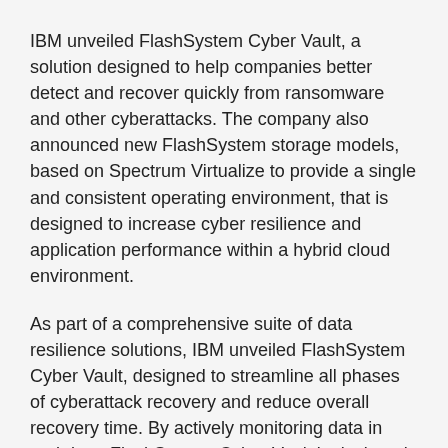IBM unveiled FlashSystem Cyber Vault, a solution designed to help companies better detect and recover quickly from ransomware and other cyberattacks. The company also announced new FlashSystem storage models, based on Spectrum Virtualize to provide a single and consistent operating environment, that is designed to increase cyber resilience and application performance within a hybrid cloud environment.
As part of a comprehensive suite of data resilience solutions, IBM unveiled FlashSystem Cyber Vault, designed to streamline all phases of cyberattack recovery and reduce overall recovery time. By actively monitoring data in real-time, FlashSystem Cyber Vault is designed to accelerate ransomware recovery based on validated restore points, allowing organizations to recover a clean copy of their data.
"As companies are under increasing security threats, they must anticipate and prepare for cyber-attacks in addition to